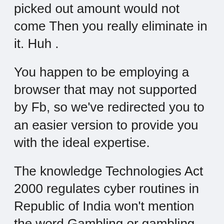picked out amount would not come Then you really eliminate in it. Huh .
You happen to be employing a browser that may not supported by Fb, so we've redirected you to an easier version to provide you with the ideal expertise.
The knowledge Technologies Act 2000 regulates cyber routines in Republic of India won't mention the word Gambling or gambling therefore the act was remaining for interpretation by the Courts that have refused to think about the subject.
Close friends, it is crucial that prior to deciding to get to know many of the information